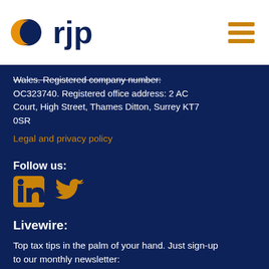[Figure (logo): RJP logo: orange silhouette face and dark navy blue text 'rjp']
Wales. Registered company number: OC323740. Registered office address: 2 AC Court, High Street, Thames Ditton, Surrey KT7 0SR
Legal and privacy policy
Follow us:
[Figure (illustration): LinkedIn and Twitter social media icons in orange]
Livewire:
Top tax tips in the palm of your hand. Just sign-up to our monthly newsletter:
Name